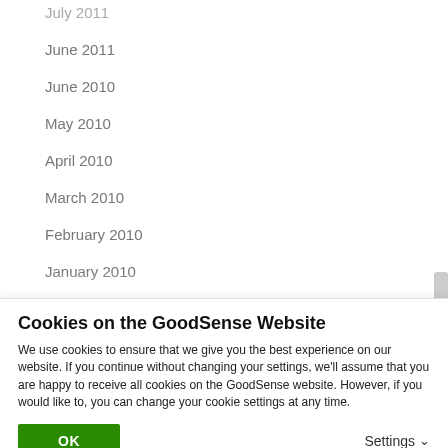July 2011
June 2011
June 2010
May 2010
April 2010
March 2010
February 2010
January 2010
December 2009
November 2009
October 2009
September 2009
Cookies on the GoodSense Website
We use cookies to ensure that we give you the best experience on our website. If you continue without changing your settings, we'll assume that you are happy to receive all cookies on the GoodSense website. However, if you would like to, you can change your cookie settings at any time.
OK
Settings